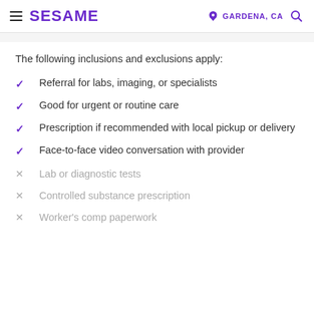SESAME | GARDENA, CA
The following inclusions and exclusions apply:
Referral for labs, imaging, or specialists
Good for urgent or routine care
Prescription if recommended with local pickup or delivery
Face-to-face video conversation with provider
Lab or diagnostic tests
Controlled substance prescription
Worker's comp paperwork